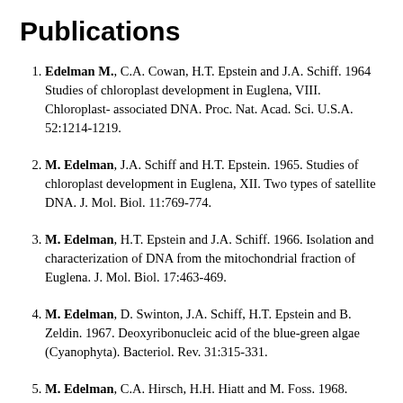Publications
Edelman M., C.A. Cowan, H.T. Epstein and J.A. Schiff. 1964 Studies of chloroplast development in Euglena, VIII. Chloroplast- associated DNA. Proc. Nat. Acad. Sci. U.S.A. 52:1214-1219.
M. Edelman, J.A. Schiff and H.T. Epstein. 1965. Studies of chloroplast development in Euglena, XII. Two types of satellite DNA. J. Mol. Biol. 11:769-774.
M. Edelman, H.T. Epstein and J.A. Schiff. 1966. Isolation and characterization of DNA from the mitochondrial fraction of Euglena. J. Mol. Biol. 17:463-469.
M. Edelman, D. Swinton, J.A. Schiff, H.T. Epstein and B. Zeldin. 1967. Deoxyribonucleic acid of the blue-green algae (Cyanophyta). Bacteriol. Rev. 31:315-331.
M. Edelman, C.A. Hirsch, H.H. Hiatt and M. Foss. 1968. (partial, cut off)